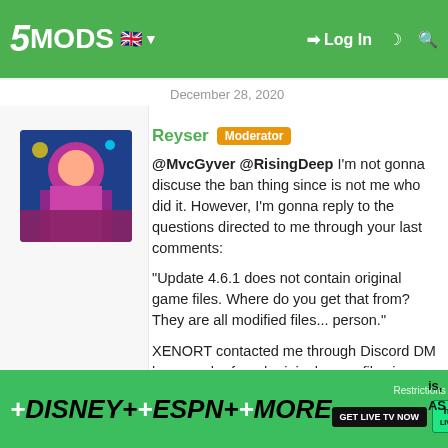5MODS | wherever else you decide to start uploading your mods | Log In
December 28, 2020
Reyser [Moderator]
@MvcGyver @RisingDeep I'm not gonna discuse the ban thing since is not me who did it. However, I'm gonna reply to the questions directed to me through your last comments:

"Update 4.6.1 does not contain original game files. Where do you get that from? They are all modified files... person."

XENORT contacted me through Discord DM because he found original game files in your upload and suggested me to check the files by saying this: "In the mod changelog MvcGyver mentions new sounds for Perico Pistol, Military Rifle, Combat Shotgun (they are from latest update for GTA Online),
[Figure (infographic): Hulu advertisement banner: +DISNEY+ +ESPN+ +MORE GET LIVE TV NOW hulu LIVE TV]